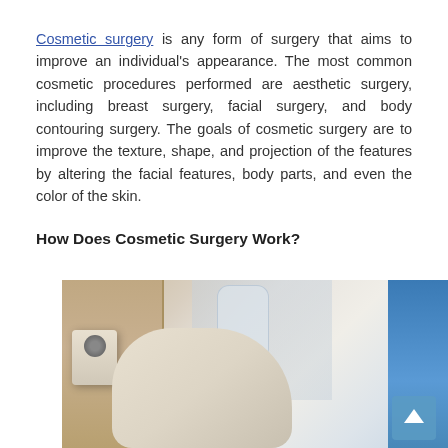Cosmetic surgery is any form of surgery that aims to improve an individual's appearance. The most common cosmetic procedures performed are aesthetic surgery, including breast surgery, facial surgery, and body contouring surgery. The goals of cosmetic surgery are to improve the texture, shape, and projection of the features by altering the facial features, body parts, and even the color of the skin.
How Does Cosmetic Surgery Work?
[Figure (photo): A gloved surgeon's hand holding an instrument in an operating room, with an IV bag visible in the background and a surgeon in blue scrubs on the right side.]